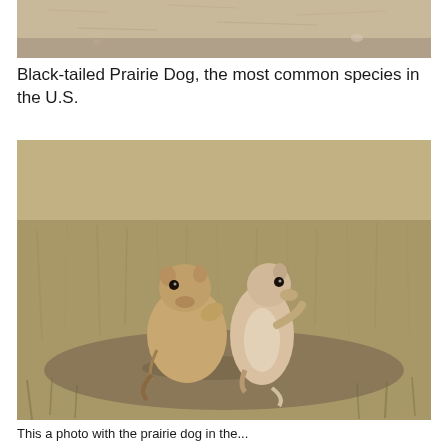[Figure (photo): Top portion of a prairie dog photo showing sandy/dirt ground background, cropped at top]
Black-tailed Prairie Dog, the most common species in the U.S.
[Figure (photo): Two black-tailed prairie dogs standing upright facing each other in a dry grassy field, appearing to kiss or nuzzle]
This a photo with the prairie dog in the...